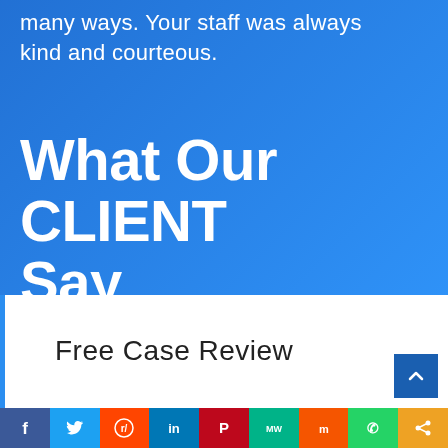many ways. Your staff was always kind and courteous.
What Our CLIENT Say
Free Case Review
[Figure (infographic): Social media share bar with icons: Facebook, Twitter, Reddit, LinkedIn, Pinterest, MeWe, Mix, WhatsApp, Share]